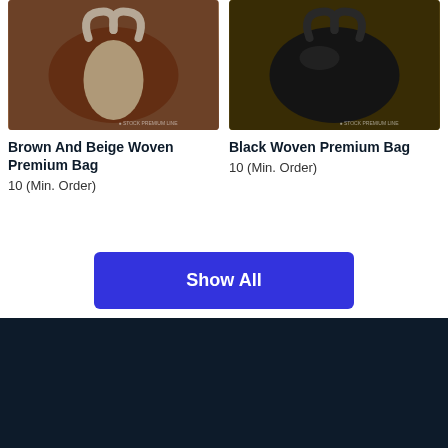[Figure (photo): Brown and beige woven premium handbag displayed in a store setting]
Brown And Beige Woven Premium Bag
10 (Min. Order)
[Figure (photo): Black woven premium handbag displayed in a store setting]
Black Woven Premium Bag
10 (Min. Order)
Show All
[Figure (logo): Blue fox or bird logo on dark navy footer background]